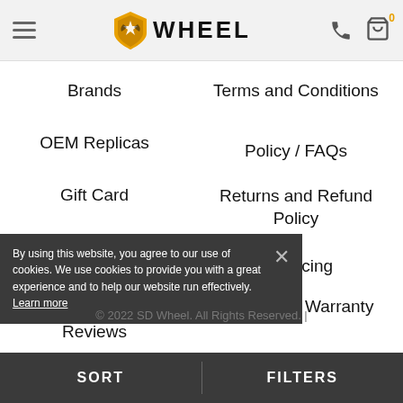WHEEL — Navigation menu page with hamburger, logo, phone, and cart icons
Brands
OEM Replicas
Gift Card
Today's Deals
Blogs
Reviews
Terms and Conditions
Policy / FAQs
Returns and Refund Policy
Financing
Wheel/Tire Warranty
By using this website, you agree to our use of cookies. We use cookies to provide you with a great experience and to help our website run effectively. Learn more
© 2022 SD Wheel. All Rights Reserved. |
SORT   FILTERS